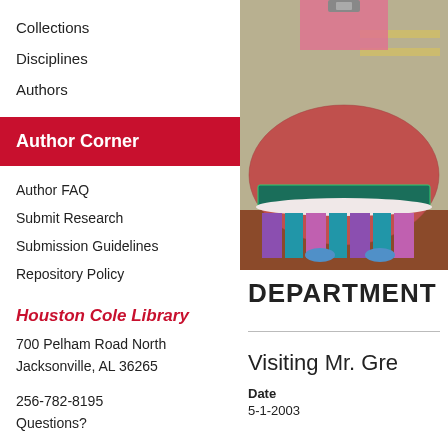Collections
Disciplines
Authors
Author Corner
Author FAQ
Submit Research
Submission Guidelines
Repository Policy
Houston Cole Library
700 Pelham Road North
Jacksonville, AL 36265
256-782-8195
Questions?
[Figure (photo): Photo of a performer in a colorful traditional costume with a pink ruffled skirt with blue, teal, and pink vertical stripes and decorative embroidery]
DEPARTMENT
Visiting Mr. Gre
Date
5-1-2003